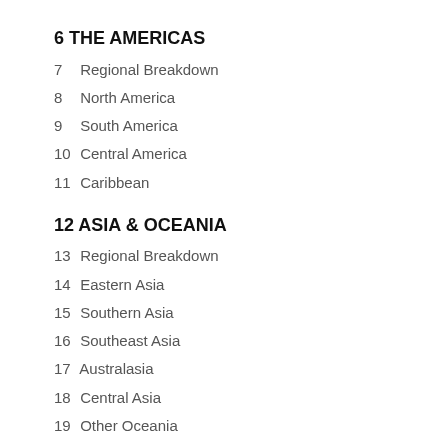6 THE AMERICAS
7 Regional Breakdown
8 North America
9 South America
10 Central America
11 Caribbean
12 ASIA & OCEANIA
13 Regional Breakdown
14 Eastern Asia
15 Southern Asia
16 Southeast Asia
17 Australasia
18 Central Asia
19 Other Oceania
20 EUROPE